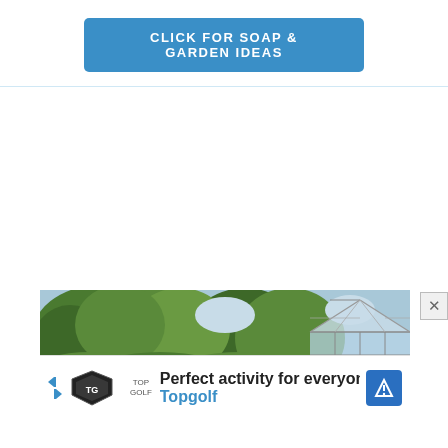[Figure (other): Blue rounded rectangle button with white text reading CLICK FOR SOAP & GARDEN IDEAS]
[Figure (photo): Outdoor garden scene with lush green trees and shrubs, with a glass greenhouse structure visible on the right side]
[Figure (other): Advertisement bar for Topgolf showing logo, text 'Perfect activity for everyone' and 'Topgolf', with a blue navigation arrow icon and skip/close controls]